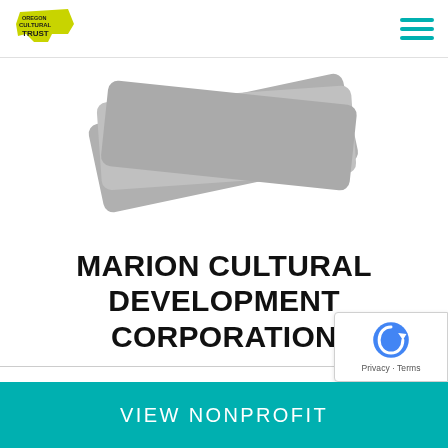Oregon Cultural Trust | Marion Cultural Development Corporation
[Figure (illustration): Stacked credit card / ticket-like shapes in gray, shown at an angle, partially cropped at the top of the card area]
MARION CULTURAL DEVELOPMENT CORPORATION
...
VIEW NONPROFIT